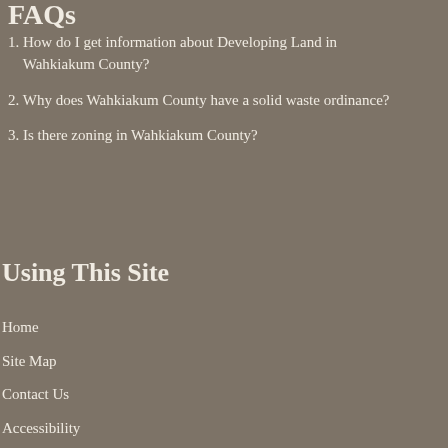FAQs
1. How do I get information about Developing Land in Wahkiakum County?
2. Why does Wahkiakum County have a solid waste ordinance?
3. Is there zoning in Wahkiakum County?
Using This Site
Home
Site Map
Contact Us
Accessibility
Copyright Notices